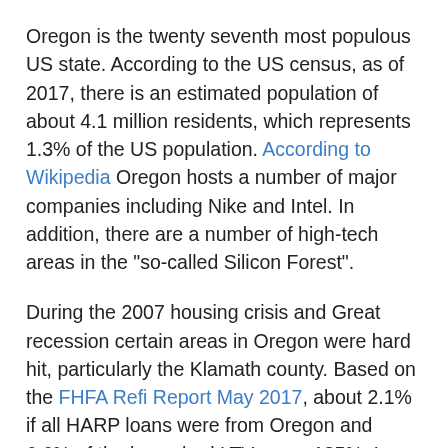Oregon is the twenty seventh most populous US state. According to the US census, as of 2017, there is an estimated population of about 4.1 million residents, which represents 1.3% of the US population. According to Wikipedia Oregon hosts a number of major companies including Nike and Intel. In addition, there are a number of high-tech areas in the "so-called Silicon Forest".
During the 2007 housing crisis and Great recession certain areas in Oregon were hard hit, particularly the Klamath county. Based on the FHFA Refi Report May 2017, about 2.1% if all HARP loans were from Oregon and 6.6% of the loans had LTVs over 125%. In April 2013 Oregon started a pilot HARP 3 program based on Sen. Merkley's proposal. The program helped a limited number of homebuyers, but did not take off beyond the pilot stage.
Based on 2015 HMDA data, Oregon as compared to